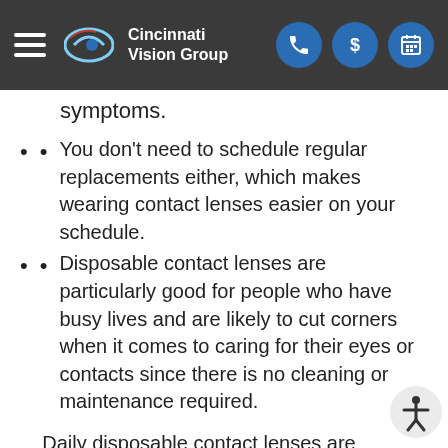Cincinnati Vision Group
symptoms.
You don't need to schedule regular replacements either, which makes wearing contact lenses easier on your schedule.
Disposable contact lenses are particularly good for people who have busy lives and are likely to cut corners when it comes to caring for their eyes or contacts since there is no cleaning or maintenance required.
Daily disposable contact lenses are available in a wide range of prescriptions, including those for patients with nearsightedness and